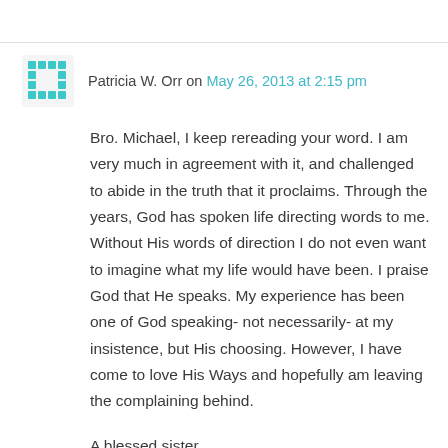Patricia W. Orr on May 26, 2013 at 2:15 pm
Bro. Michael, I keep rereading your word. I am very much in agreement with it, and challenged to abide in the truth that it proclaims. Through the years, God has spoken life directing words to me. Without His words of direction I do not even want to imagine what my life would have been. I praise God that He speaks. My experience has been one of God speaking- not necessarily- at my insistence, but His choosing. However, I have come to love His Ways and hopefully am leaving the complaining behind.
A blessed sister,